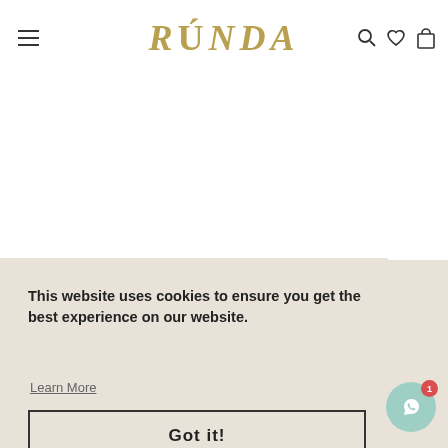[Figure (logo): RÚNDA brand logo in gold/tan serif italic font, centered in navigation header]
This website uses cookies to ensure you get the best experience on our website.
Learn More
Customer Support
FAQ
Got it!
Cancellation and Return
How do I get my order delivered?